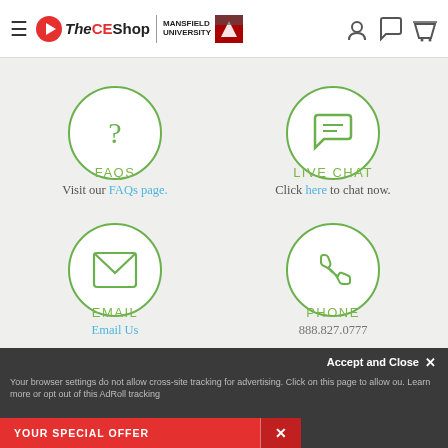[Figure (screenshot): Website header with hamburger menu, The CE Shop Mansfield University logo, and icons for user account, chat, and cart]
[Figure (illustration): FAQ circle icon with question mark]
FAQS
Visit our FAQs page.
[Figure (illustration): Live Chat circle icon with speech bubble]
LIVE CHAT
Click here to chat now.
[Figure (illustration): Email circle icon with envelope]
EMAIL
Email Us
[Figure (illustration): Phone circle icon with telephone handset]
PHONE
888.827.0777
Accept and Close ✕
Your browser settings do not allow cross-site tracking for advertising. Click on this page to allow ou. Learn more or opt out of this AdRoll tracking
YOUR SPECIAL OFFER ✕